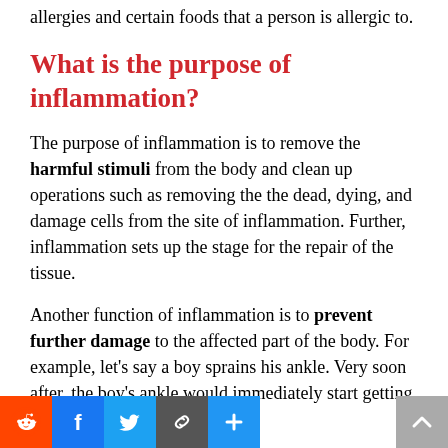allergies and certain foods that a person is allergic to.
What is the purpose of inflammation?
The purpose of inflammation is to remove the harmful stimuli from the body and clean up operations such as removing the the dead, dying, and damage cells from the site of inflammation. Further, inflammation sets up the stage for the repair of the tissue.
Another function of inflammation is to prevent further damage to the affected part of the body. For example, let's say a boy sprains his ankle. Very soon after, the boy's ankle would immediately start getting inflamed and swollen,